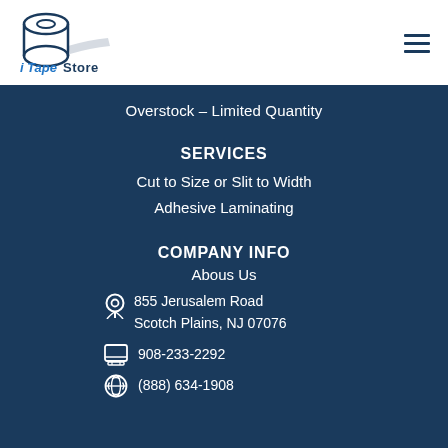[Figure (logo): iTapeStore logo with tape roll icon and stylized text]
Overstock - Limited Quantity
SERVICES
Cut to Size or Slit to Width
Adhesive Laminating
COMPANY INFO
Abous Us
855 Jerusalem Road Scotch Plains, NJ 07076
908-233-2292
(888) 634-1908